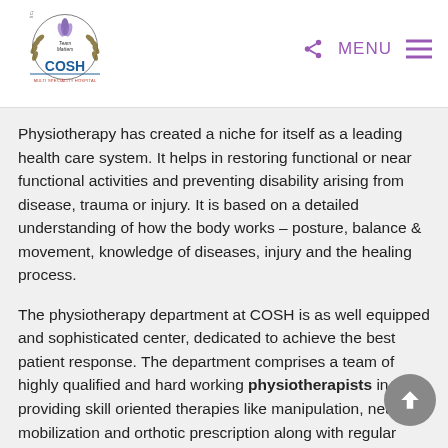COSH MULTI SPECIALITY HOSPITAL — Team Matters logo with MENU navigation
Physiotherapy has created a niche for itself as a leading health care system. It helps in restoring functional or near functional activities and preventing disability arising from disease, trauma or injury. It is based on a detailed understanding of how the body works – posture, balance & movement, knowledge of diseases, injury and the healing process.
The physiotherapy department at COSH is as well equipped and sophisticated center, dedicated to achieve the best patient response. The department comprises a team of highly qualified and hard working physiotherapists in providing skill oriented therapies like manipulation, neural mobilization and orthotic prescription along with regular therapies. The team works in perfect co-ordination to deliver the best combination of exercise therapy and electrotherapy for a